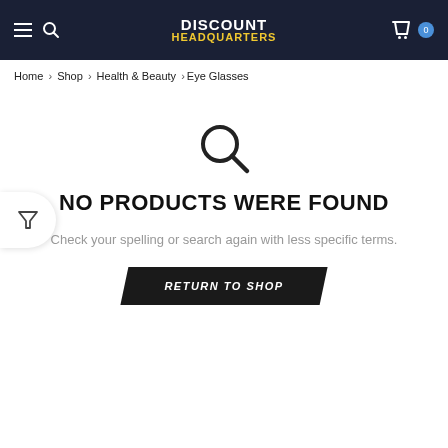DISCOUNT HEADQUARTERS
Home > Shop > Health & Beauty > Eye Glasses
[Figure (other): Filter funnel icon button on left edge]
[Figure (other): Large search/magnifying glass icon]
NO PRODUCTS WERE FOUND
Check your spelling or search again with less specific terms.
RETURN TO SHOP